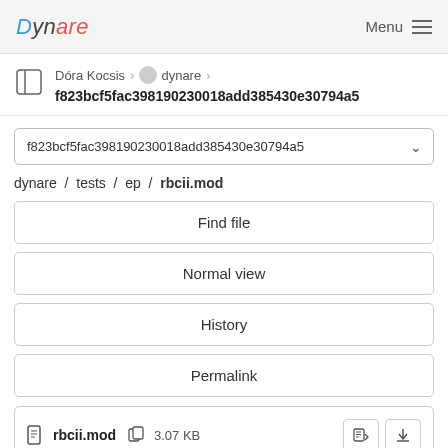Dynare   Menu
Dóra Kocsis > dynare > f823bcf5fac398190230018add385430e30794a5
f823bcf5fac398190230018add385430e30794a5
dynare / tests / ep / rbcii.mod
Find file
Normal view
History
Permalink
rbcii.mod  3.07 KB
Newer   Older